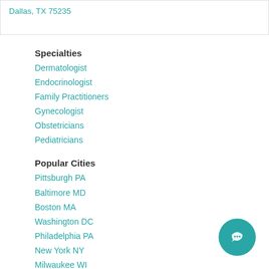Dallas, TX 75235
Specialties
Dermatologist
Endocrinologist
Family Practitioners
Gynecologist
Obstetricians
Pediatricians
Popular Cities
Pittsburgh PA
Baltimore MD
Boston MA
Washington DC
Philadelphia PA
New York NY
Milwaukee WI